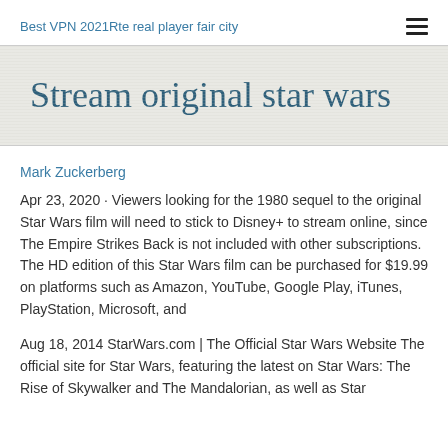Best VPN 2021Rte real player fair city
Stream original star wars
Mark Zuckerberg
Apr 23, 2020 · Viewers looking for the 1980 sequel to the original Star Wars film will need to stick to Disney+ to stream online, since The Empire Strikes Back is not included with other subscriptions. The HD edition of this Star Wars film can be purchased for $19.99 on platforms such as Amazon, YouTube, Google Play, iTunes, PlayStation, Microsoft, and
Aug 18, 2014 StarWars.com | The Official Star Wars Website The official site for Star Wars, featuring the latest on Star Wars: The Rise of Skywalker and The Mandalorian, as well as Star